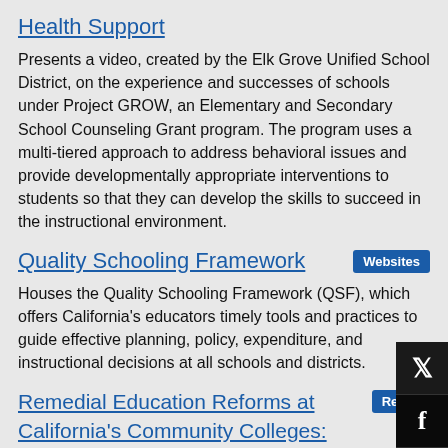Health Support
Presents a video, created by the Elk Grove Unified School District, on the experience and successes of schools under Project GROW, an Elementary and Secondary School Counseling Grant program. The program uses a multi-tiered approach to address behavioral issues and provide developmentally appropriate interventions to students so that they can develop the skills to succeed in the instructional environment.
Quality Schooling Framework
Houses the Quality Schooling Framework (QSF), which offers California's educators timely tools and practices to guide effective planning, policy, expenditure, and instructional decisions at all schools and districts.
Remedial Education Reforms at California's Community Colleges: Early Evidence on Placement and Curricular Reforms